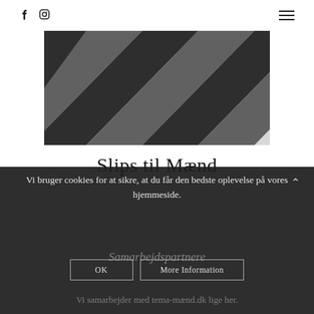f  [instagram icon]  [hamburger menu]
[Figure (photo): Close-up photo of a striped men's tie with alternating dark charcoal and medium grey diagonal stripes]
Slips til Mænd
Vi bruger cookies for at sikre, at du får den bedste oplevelse på vores hjemmeside.
Samarbejdspartnere
Vi samarbejder med tema-mænd.dk lige her.